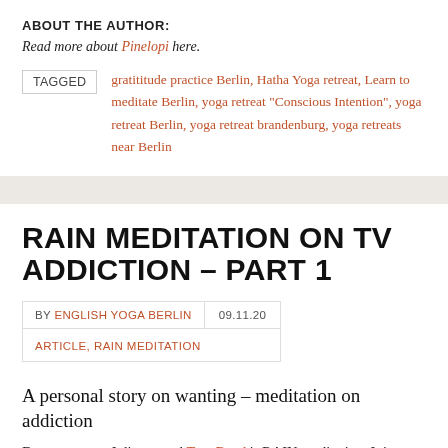ABOUT THE AUTHOR:
Read more about Pinelopi here.
TAGGED   gratititude practice Berlin, Hatha Yoga retreat, Learn to meditate Berlin, yoga retreat "Conscious Intention", yoga retreat Berlin, yoga retreat brandenburg, yoga retreats near Berlin
RAIN MEDITATION ON TV ADDICTION – PART 1
BY ENGLISH YOGA BERLIN   09.11.20   ARTICLE, RAIN MEDITATION
A personal story on wanting – meditation on addiction
Four years ago I discovered Tara Brach's RAIN meditation. It is not an exaggeration to say that it changed my life. Since then, I have read all